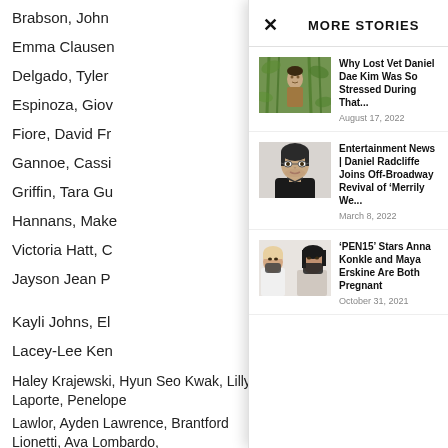Brabson, John
Emma Clausen
Delgado, Tyler
Espinoza, Giov
Fiore, David Fr
Gannoe, Cass
Griffin, Tara Gu
Hannans, Make
Victoria Hatt, C
Jayson Jean P
Kayli Johns, El
Lacey-Lee Ken
Haley Krajewski, Hyun Seo Kwak, Lilly Laporte, Penelope
Lawlor, Ayden Lawrence, Brantford Lionetti, Ava Lombardo,
MORE STORIES
[Figure (photo): Photo of Daniel Dae Kim in jungle/outdoor setting]
Why Lost Vet Daniel Dae Kim Was So Stressed During That...
August 17, 2022
[Figure (photo): Portrait photo of Daniel Radcliffe]
Entertainment News | Daniel Radcliffe Joins Off-Broadway Revival of ‘Merrily We...
March 8, 2022
[Figure (photo): Photo of two women wearing masks]
'PEN15' Stars Anna Konkle and Maya Erskine Are Both Pregnant
October 31, 2021